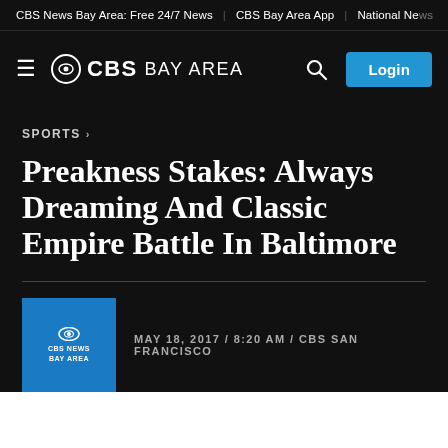CBS News Bay Area: Free 24/7 News | CBS Bay Area App | National Ne…
[Figure (logo): CBS Bay Area logo with hamburger menu, CBS eye logo, search icon, and Login button]
SPORTS ›
Preakness Stakes: Always Dreaming And Classic Empire Battle In Baltimore
MAY 18, 2017 / 8:20 AM / CBS SAN FRANCISCO
[Figure (logo): CBS News Bay Area thumbnail logo - blue square with CBS eye and BAY AREA text]